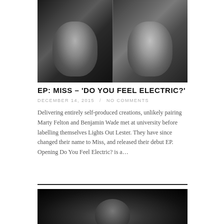[Figure (photo): Black and white split photo of two men: left man with short dark hair wearing a black shirt, right man with curly hair wearing a grey shirt]
EP: MISS – 'DO YOU FEEL ELECTRIC?'
DECEMBER 14, 2015 / NO COMMENTS
Delivering entirely self-produced creations, unlikely pairing Marty Felton and Benjamin Wade met at university before labelling themselves Lights Out Lester. They have since changed their name to Miss, and released their debut EP. Opening Do You Feel Electric? is a…
[Figure (photo): Black and white partial photo of a person, mostly dark, showing top of head]